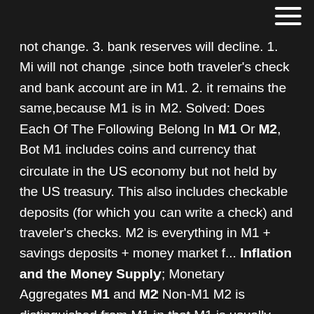not change. 3. bank reserves will decline. 1. Mi will not change ,since both traveler's check and bank account are in M1. 2. it remains the same,because M1 is in M2. Solved: Does Each Of The Following Belong In M1 Or M2, Bot M1 includes coins and currency that circulate in the US economy but not held by the US treasury. This also includes checkable deposits (for which you can write a check) and traveler's checks. M2 is everything in M1 + savings deposits + money market f... Inflation and the Money Supply; Monetary Aggregates M1 and M2 Non-M1 M2 is distinguished from M1 in that M1 is usually used as money while non-M1 M2 is not. Most people use these accounts as a store of value and to earn income and although the accounts have check-writing privileges, the privileges are